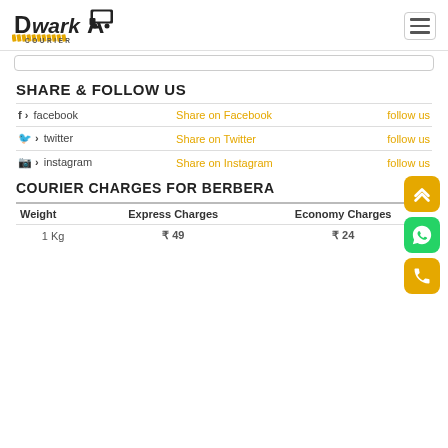[Figure (logo): Dwarka Courier logo with truck icon and yellow diagonal stripes]
SHARE & FOLLOW US
|  | Share Link | Follow |
| --- | --- | --- |
| f > facebook | Share on Facebook | follow us |
| 🐦 > twitter | Share on Twitter | follow us |
| 📷 > instagram | Share on Instagram | follow us |
COURIER CHARGES FOR BERBERA
| Weight | Express Charges | Economy Charges |
| --- | --- | --- |
| 1 Kg | ₹ 49 | ₹ 24 |